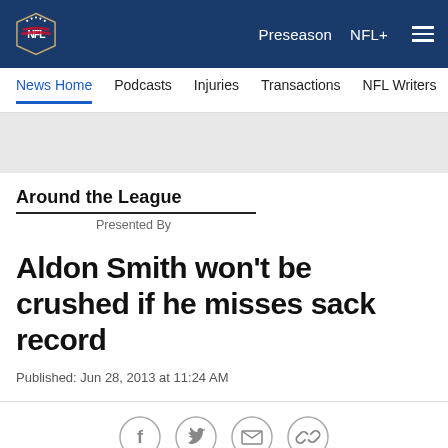NFL | Preseason | NFL+
Around the League
Presented By
Aldon Smith won't be crushed if he misses sack record
Published: Jun 28, 2013 at 11:24 AM
[Figure (other): Social sharing icons: Facebook, Twitter, Email, Link]